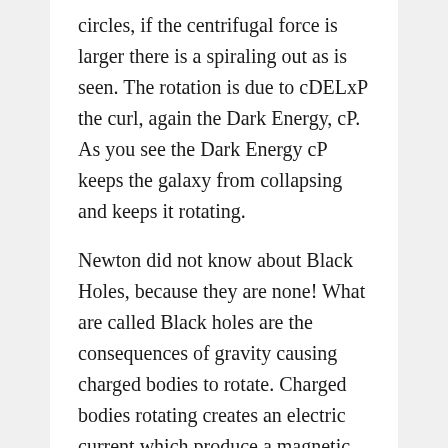circles, if the centrifugal force is larger there is a spiraling out as is seen. The rotation is due to cDELxP the curl, again the Dark Energy, cP. As you see the Dark Energy cP keeps the galaxy from collapsing and keeps it rotating.
Newton did not know about Black Holes, because they are none! What are called Black holes are the consequences of gravity causing charged bodies to rotate. Charged bodies rotating creates an electric current which produce a magnetic field, B = uI/r, in the center of the rotation ! This rotation would b e contyrolled by Newton's rate v=(GM/r)^.5. What we see is that the rotation is faster than